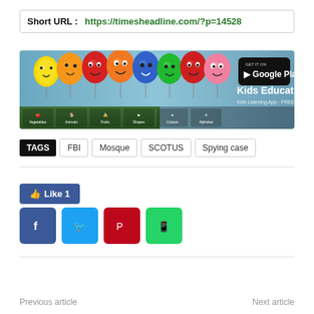Short URL : https://timesheadline.com/?p=14528
[Figure (illustration): Kids Educational Game advertisement banner with colorful cartoon balloons (yellow, orange, red, orange, blue, green, red, pink) with smiley faces, Google Play Store badge, and category icons at the bottom (Vegetables, Animals, Fruits, Shapes, Colours, Alphabet)]
TAGS FBI Mosque SCOTUS Spying case
Like 1
Previous article
Next article